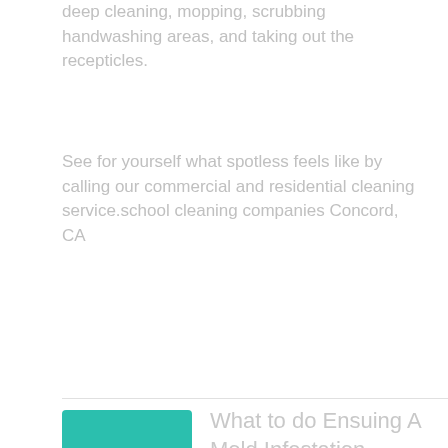deep cleaning, mopping, scrubbing handwashing areas, and taking out the recepticles.
See for yourself what spotless feels like by calling our commercial and residential cleaning service.school cleaning companies Concord, CA
What to do Ensuing A Mold Infestation. Phone a Restoration Company
3 23, 2022  | Mold Inspection   No Comments
It's important to learn about what mold is and why it grows. Every kind of mold is a fungus, just like mushrooms and athlete's foot, for example. The mold that is dangerous to people is rare in the fungi